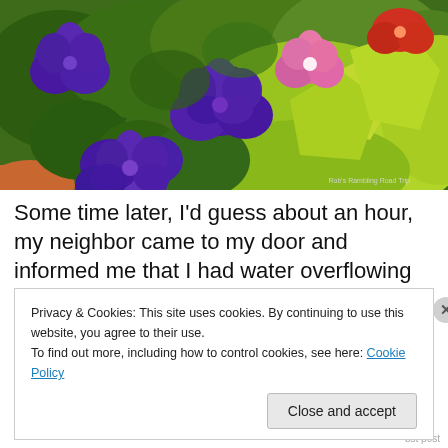[Figure (photo): Close-up photo of purple petunia flowers and bright yellow-green foliage in a garden or planter. Vibrant purple blooms dominate the left side, with lush green and yellow-green leaves on the right. Watermark reads 'Rob's Rambling Road Trip' in bottom-right corner.]
Some time later, I’d guess about an hour, my neighbor came to my door and informed me that I had water overflowing out of my RV. Sure enough water was running
Privacy & Cookies: This site uses cookies. By continuing to use this website, you agree to their use.
To find out more, including how to control cookies, see here: Cookie Policy
Close and accept